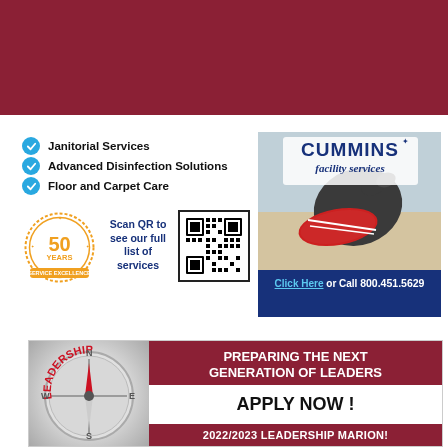[Figure (illustration): Dark red/maroon banner across the top of the page]
Janitorial Services
Advanced Disinfection Solutions
Floor and Carpet Care
[Figure (illustration): 50 Years of Service Excellence badge in orange/gold]
Scan QR to see our full list of services
[Figure (illustration): QR code for scanning]
[Figure (photo): Cummins Facility Services advertisement showing a gloved hand cleaning, with logo and contact info. Click Here or Call 800.451.5629]
[Figure (illustration): Leadership Marion advertisement with compass image. Text: PREPARING THE NEXT GENERATION OF LEADERS / APPLY NOW ! / 2022/2023 LEADERSHIP MARION!]